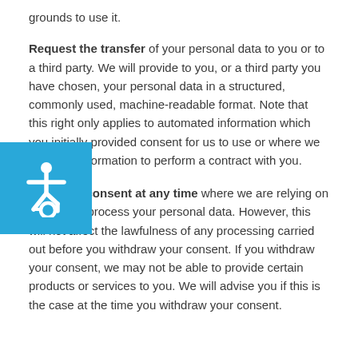grounds to use it.
Request the transfer of your personal data to you or to a third party. We will provide to you, or a third party you have chosen, your personal data in a structured, commonly used, machine-readable format. Note that this right only applies to automated information which you initially provided consent for us to use or where we used the information to perform a contract with you.
Withdraw consent at any time where we are relying on consent to process your personal data. However, this will not affect the lawfulness of any processing carried out before you withdraw your consent. If you withdraw your consent, we may not be able to provide certain products or services to you. We will advise you if this is the case at the time you withdraw your consent.